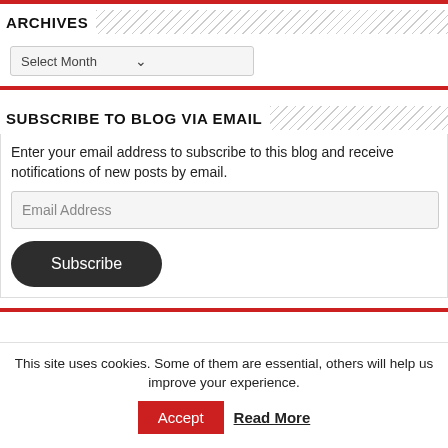ARCHIVES
Select Month
SUBSCRIBE TO BLOG VIA EMAIL
Enter your email address to subscribe to this blog and receive notifications of new posts by email.
Email Address
Subscribe
This site uses cookies. Some of them are essential, others will help us improve your experience.
Accept
Read More